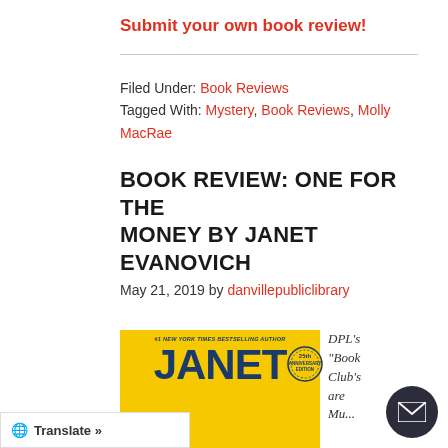Submit your own book review!
Filed Under: Book Reviews
Tagged With: Mystery, Book Reviews, Molly MacRae
BOOK REVIEW: ONE FOR THE MONEY BY JANET EVANOVICH
May 21, 2019 by danvillepubliclibrary
[Figure (photo): Book cover of 'One for the Money' by Janet Evanovich, 25th Anniversary Edition. Yellow background with large blue text showing author name JANET. #1 New York Times Bestselling Author subtitle. Anniversary badge.]
DPL's "Book Club's are Mu..."